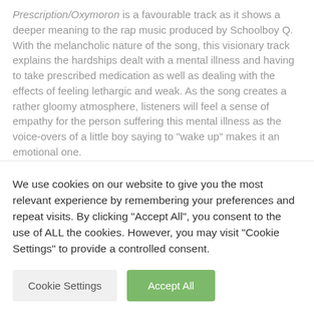Prescription/Oxymoron is a favourable track as it shows a deeper meaning to the rap music produced by Schoolboy Q. With the melancholic nature of the song, this visionary track explains the hardships dealt with a mental illness and having to take prescribed medication as well as dealing with the effects of feeling lethargic and weak. As the song creates a rather gloomy atmosphere, listeners will feel a sense of empathy for the person suffering this mental illness as the voice-overs of a little boy saying to "wake up" makes it an emotional one.
With a collection of tracks that that will tantalise any rap lovers passion for hip-hop music, Schoolboy Q has released an
[Figure (other): A red circle annotation overlaid on the text, highlighting the repeated word 'that that' in the second paragraph.]
We use cookies on our website to give you the most relevant experience by remembering your preferences and repeat visits. By clicking "Accept All", you consent to the use of ALL the cookies. However, you may visit "Cookie Settings" to provide a controlled consent.